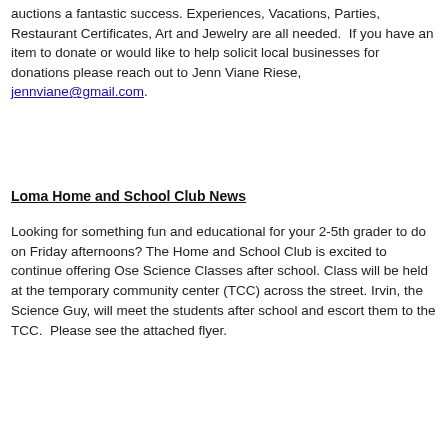auctions a fantastic success. Experiences, Vacations, Parties, Restaurant Certificates, Art and Jewelry are all needed.  If you have an item to donate or would like to help solicit local businesses for donations please reach out to Jenn Viane Riese, jennviane@gmail.com.
Loma Home and School Club News
Looking for something fun and educational for your 2-5th grader to do on Friday afternoons? The Home and School Club is excited to continue offering Ose Science Classes after school. Class will be held at the temporary community center (TCC) across the street. Irvin, the Science Guy, will meet the students after school and escort them to the TCC.  Please see the attached flyer.